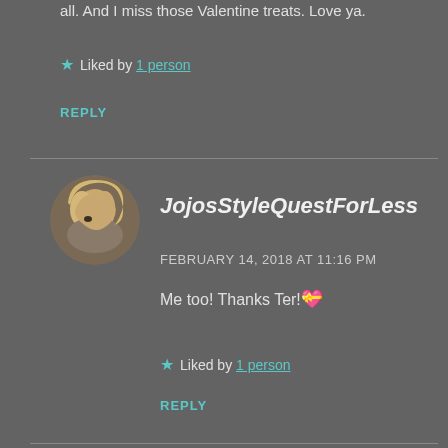all. And I miss those Valentine treats. Love ya.
Liked by 1 person
REPLY
[Figure (photo): Circular avatar photo of a blonde woman]
JojosStyleQuestForLess
FEBRUARY 14, 2018 AT 11:16 PM
Me too! Thanks Ter! 💝
Liked by 1 person
REPLY